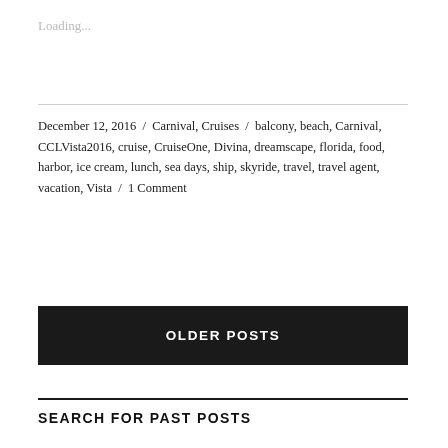Loading...
December 12, 2016 / Carnival, Cruises / balcony, beach, Carnival, CCLVista2016, cruise, CruiseOne, Divina, dreamscape, florida, food, harbor, ice cream, lunch, sea days, ship, skyride, travel, travel agent, vacation, Vista / 1 Comment
OLDER POSTS
SEARCH FOR PAST POSTS